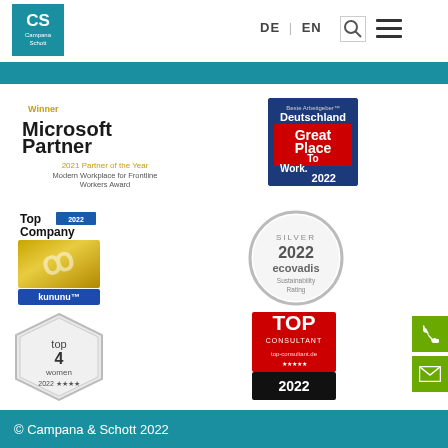[Figure (logo): Campana Schott CS logo - teal background with CS letters]
DE | EN
[Figure (illustration): Search icon in bordered box and hamburger menu icon]
[Figure (illustration): Teal header band]
[Figure (logo): Microsoft Partner Winner 2021 Partner of the Year Modern Workplace for Frontline Workers Award badge]
[Figure (logo): Beste Arbeitgeber Deutschland Great Place To Work 2022 badge - blue and red]
[Figure (logo): Top Company 2022 kununu badge - gold with blue bar]
[Figure (logo): EcoVadis Silver 2022 Sustainability Rating badge - silver circular]
[Figure (logo): top 4 women 2022 silver hexagon badge]
[Figure (logo): TOP CONSULTANT 2022 red and black badge]
[Figure (illustration): Green phone button on right side]
[Figure (illustration): Green mail/envelope button on right side]
© Campana & Schott 2022